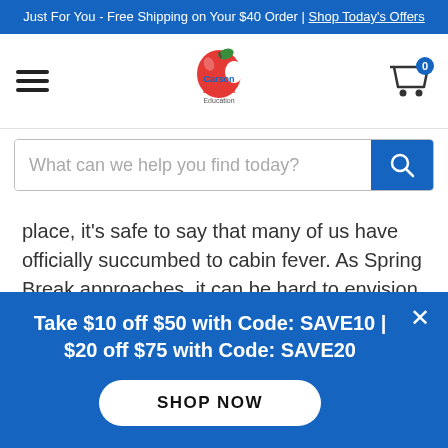Just For You - Free Shipping on Your $40 Order | Shop Today's Offers
[Figure (logo): Carson Dellosa Education logo with apple icon]
[Figure (screenshot): Search bar with placeholder text 'What can we help you find today?' and blue search button]
place, it's safe to say that many of us have officially succumbed to cabin fever. As Spring Break approaches, it can be hard to envision what a "s … read more
Take $10 off $50 with Code: SAVE10 | $20 off $75 with Code: SAVE20
SHOP NOW